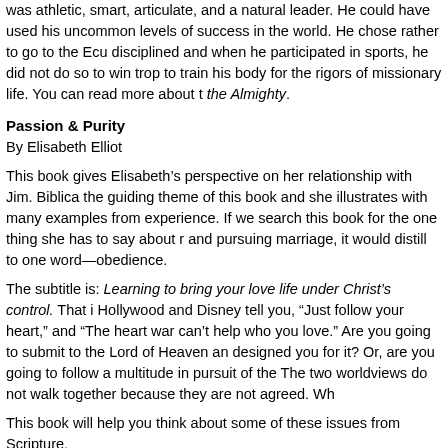was athletic, smart, articulate, and a natural leader. He could have used his uncommon levels of success in the world. He chose rather to go to the Ecu disciplined and when he participated in sports, he did not do so to win trop to train his body for the rigors of missionary life. You can read more about t the Almighty.
Passion & Purity
By Elisabeth Elliot
This book gives Elisabeth’s perspective on her relationship with Jim. Biblica the guiding theme of this book and she illustrates with many examples from experience. If we search this book for the one thing she has to say about r and pursuing marriage, it would distill to one word—obedience.
The subtitle is: Learning to bring your love life under Christ’s control. That i Hollywood and Disney tell you, “Just follow your heart,” and “The heart war can’t help who you love.” Are you going to submit to the Lord of Heaven an designed you for it? Or, are you going to follow a multitude in pursuit of the The two worldviews do not walk together because they are not agreed. Wh
This book will help you think about some of these issues from Scripture.
[Figure (illustration): Broken image icon with link text: Find another way to see relationships that is not self-centered and]
I Kissed Dating Goodbye
By Joshua Harris
Harris used to be that son of the homeschool guy, but for good reason. His book is countercultural and contr Er b el b t ti it M d